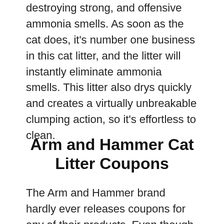destroying strong, and offensive ammonia smells. As soon as the cat does, it's number one business in this cat litter, and the litter will instantly eliminate ammonia smells. This litter also drys quickly and creates a virtually unbreakable clumping action, so it's effortless to clean.
Arm and Hammer Cat Litter Coupons
The Arm and Hammer brand hardly ever releases coupons for any of their products. Even though these cat litters from Arm and